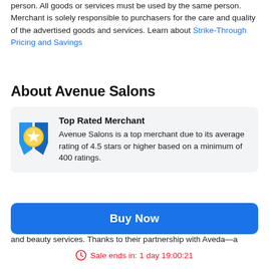person. All goods or services must be used by the same person. Merchant is solely responsible to purchasers for the care and quality of the advertised goods and services. Learn about Strike-Through Pricing and Savings
About Avenue Salons
[Figure (infographic): Top Rated Merchant badge with gold medal icon and ribbon. Text: Avenue Salons is a top merchant due to its average rating of 4.5 stars or higher based on a minimum of 400 ratings.]
Avenue Salons- an Aveda salon and spa has not one, but three environmentally-conscious salons and spas offering top-notch hair and beauty services. Thanks to their partnership with Aveda—a
Buy Now
Sale ends in: 1 day 19:00:21